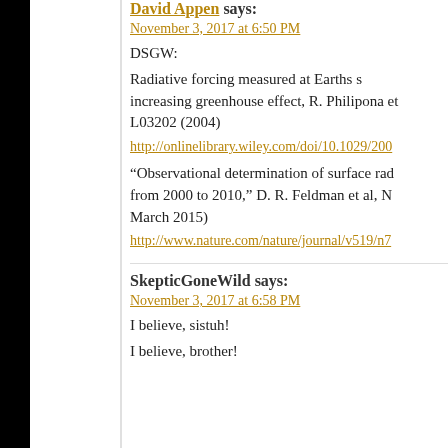David Appen says:
November 3, 2017 at 6:50 PM
DSGW:
Radiative forcing measured at Earths s... increasing greenhouse effect, R. Philipona et... L03202 (2004)
http://onlinelibrary.wiley.com/doi/10.1029/200...
“Observational determination of surface rac... from 2000 to 2010,” D. R. Feldman et al, N... March 2015)
http://www.nature.com/nature/journal/v519/n7...
SkepticGoneWild says:
November 3, 2017 at 6:58 PM
I believe, sistuh!
I believe, brother!